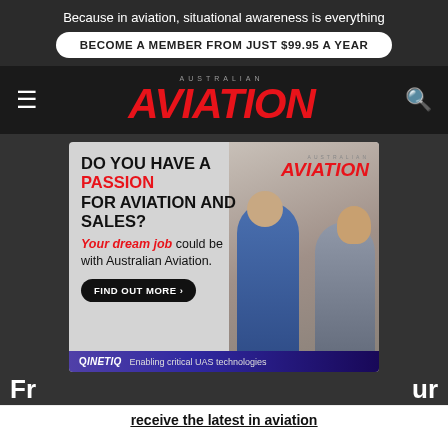Because in aviation, situational awareness is everything
BECOME A MEMBER FROM JUST $99.95 A YEAR
AUSTRALIAN AVIATION
[Figure (infographic): Australian Aviation magazine advertisement: 'DO YOU HAVE A PASSION FOR AVIATION AND SALES? Your dream job could be with Australian Aviation. FIND OUT MORE' with photo of two people in business attire and Australian Aviation logo. Below is a QinetiQ ad banner: 'Enabling critical UAS technologies']
Fr... ur
receive the latest in aviation